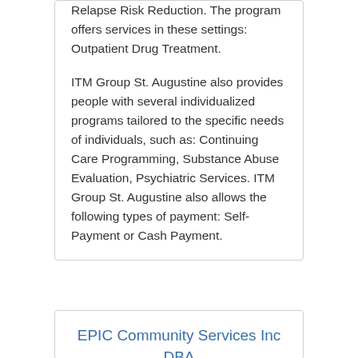Relapse Risk Reduction. The program offers services in these settings: Outpatient Drug Treatment.
ITM Group St. Augustine also provides people with several individualized programs tailored to the specific needs of individuals, such as: Continuing Care Programming, Substance Abuse Evaluation, Psychiatric Services. ITM Group St. Augustine also allows the following types of payment: Self-Payment or Cash Payment.
EPIC Community Services Inc DBA EPIC Behavioral Healthcare